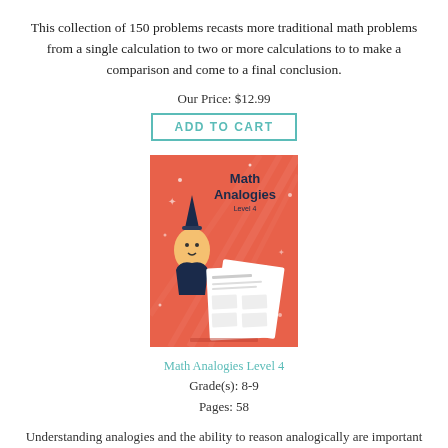This collection of 150 problems recasts more traditional math problems from a single calculation to two or more calculations to to make a comparison and come to a final conclusion.
Our Price: $12.99
ADD TO CART
[Figure (photo): Book cover of Math Analogies Level 4, showing an orange/red cover with a wizard character and sample worksheet pages]
Math Analogies Level 4
Grade(s): 8-9
Pages: 58
Understanding analogies and the ability to reason analogically are important problem-solving skills. There are few resources to assist children in the explict use of analogous reasoning with quantitative